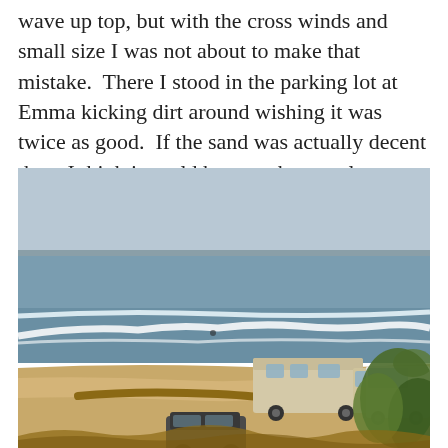wave up top, but with the cross winds and small size I was not about to make that mistake.  There I stood in the parking lot at Emma kicking dirt around wishing it was twice as good.  If the sand was actually decent there I think it could have at the very least been palatable. I caught a few and it beat not surfing.
[Figure (photo): Outdoor coastal scene showing ocean waves breaking along a beach, with an RV/motorhome and a white van parked on a dirt road near the shore. A dark-colored Jeep is in the foreground on a gravel/dirt area. Vegetation and shrubs are visible on the right side. The background shows the ocean horizon under a hazy sky.]